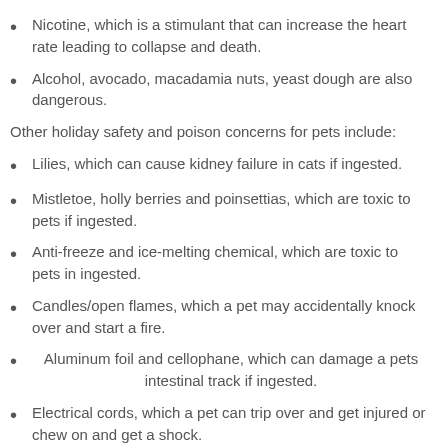Nicotine, which is a stimulant that can increase the heart rate leading to collapse and death.
Alcohol, avocado, macadamia nuts, yeast dough are also dangerous.
Other holiday safety and poison concerns for pets include:
Lilies, which can cause kidney failure in cats if ingested.
Mistletoe, holly berries and poinsettias, which are toxic to pets if ingested.
Anti-freeze and ice-melting chemical, which are toxic to pets in ingested.
Candles/open flames, which a pet may accidentally knock over and start a fire.
Aluminum foil and cellophane, which can damage a pets intestinal track if ingested.
Electrical cords, which a pet can trip over and get injured or chew on and get a shock.
Batteries, which can cause ulceration to a pet's mouth.